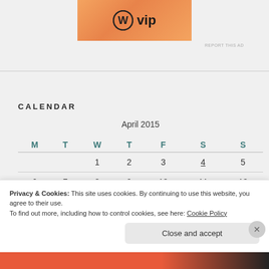[Figure (logo): WordPress VIP logo on orange gradient background]
REPORT THIS AD
CALENDAR
| M | T | W | T | F | S | S |
| --- | --- | --- | --- | --- | --- | --- |
|  |  | 1 | 2 | 3 | 4 | 5 |
| 6 | 7 | 8 | 9 | 10 | 11 | 12 |
Privacy & Cookies: This site uses cookies. By continuing to use this website, you agree to their use.
To find out more, including how to control cookies, see here: Cookie Policy
Close and accept